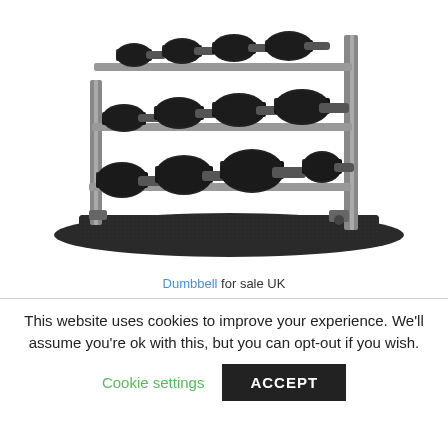[Figure (photo): A three-tier dumbbell rack filled with black hex dumbbells of various sizes, placed on a dark rubber gym mat. The rack has silver/grey metal frame.]
Dumbbell for sale UK
This website uses cookies to improve your experience. We'll assume you're ok with this, but you can opt-out if you wish.
Cookie settings   ACCEPT